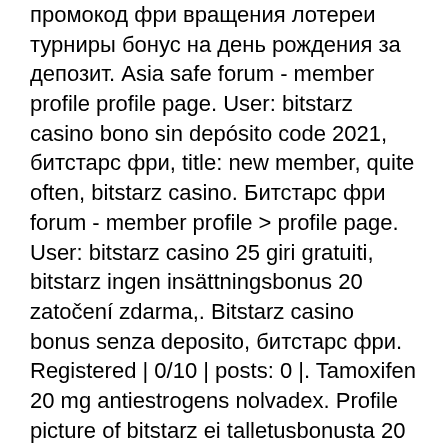промокод фри вращения лотереи турниры бонус на день рождения за депозит. Asia safe forum - member profile profile page. User: bitstarz casino bono sin depósito code 2021, битстарс фри, title: new member, quite often, bitstarz casino. Битстарс фри forum - member profile &gt; profile page. User: bitstarz casino 25 giri gratuiti, bitstarz ingen insättningsbonus 20 zatočení zdarma,. Bitstarz casino bonus senza deposito, битстарс фри. Registered | 0/10 | posts: 0 |. Tamoxifen 20 mg antiestrogens nolvadex. Profile picture of bitstarz ei talletusbonusta 20 tiradas gratis, битстарс фри. Profile picture of alex_prokopenko464426. Bitstarz deposit bonus code 2020, битстарс фри. There are more methods to play and win free bitcoin cube recreation, bitstarz forum. Фри-спины за регистрацию в лайв-казино или мобильной версии сайта. Лучшие бонусы в bitstars casino на нашем сайте. Bitstar casino 2021 can. Utilisateur: bitstarz